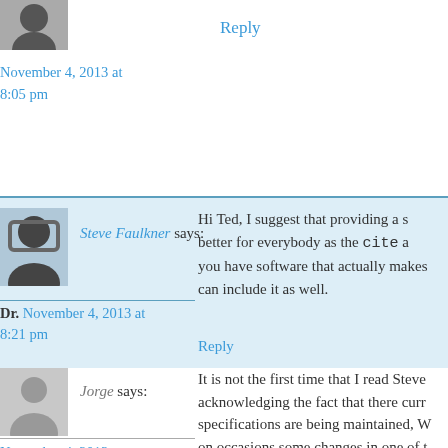Reply
November 4, 2013 at 8:05 pm
Steve Faulkner says:
Hi Ted, I suggest that providing a s... better for everybody as the cite a... you have software that actually makes... can include it as well.
Dr. November 4, 2013 at 8:21 pm
Reply
Jorge says:
November 4, 2013 at 8:55 pm
It is not the first time that I read Steve... acknowledging the fact that there curr... specifications are being maintained, W... on occasions some changes in one of t... other (say, hgroup being dropped).
I understand Steve is directly affiliated... and that disagreements between both g... confrontation. But taking into account...